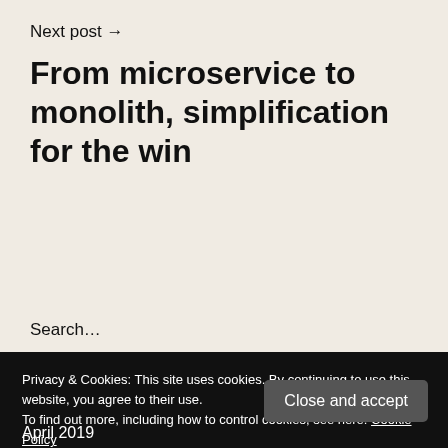Next post →
From microservice to monolith, simplification for the win
Search…
Privacy & Cookies: This site uses cookies. By continuing to use this website, you agree to their use.
To find out more, including how to control cookies, see here: Cookie Policy
Close and accept
April 2019